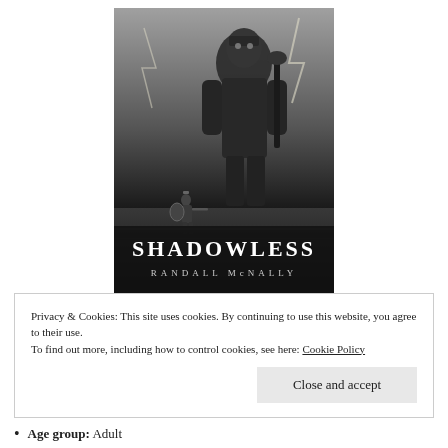[Figure (illustration): Book cover of 'Shadowless' by Randall McNally. Black and white image showing a small armored warrior with a shield facing a massive armored giant figure amid lightning. Title 'SHADOWLESS' in large white serif letters and 'RANDALL McNALLY' below in smaller white letters.]
Privacy & Cookies: This site uses cookies. By continuing to use this website, you agree to their use.
To find out more, including how to control cookies, see here: Cookie Policy
Close and accept
Age group: Adult